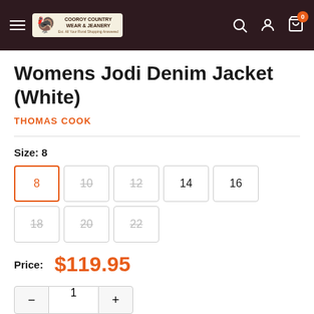Cooroy Country Wear & Jeanery – site navigation header
Womens Jodi Denim Jacket (White)
THOMAS COOK
Size: 8
Sizes available: 8 (selected), 10 (unavailable), 12 (unavailable), 14, 16, 18 (unavailable), 20 (unavailable), 22 (unavailable)
Price: $119.95